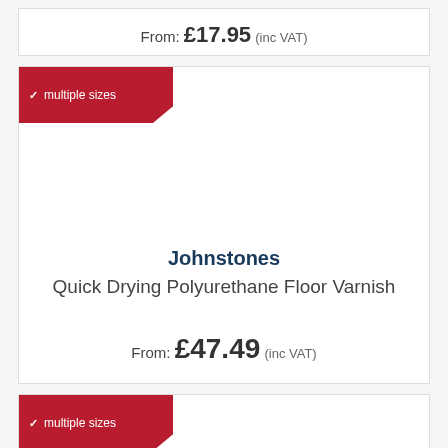From: £17.95 (inc VAT)
multiple sizes
Johnstones Quick Drying Polyurethane Floor Varnish
From: £47.49 (inc VAT)
multiple sizes